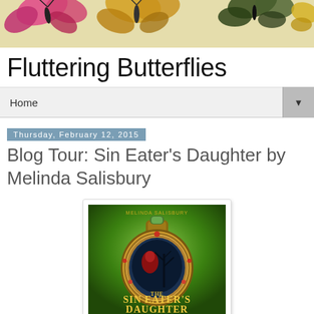[Figure (illustration): Blog header banner with colorful butterflies on a tan/yellow background]
Fluttering Butterflies
Home ▼
Thursday, February 12, 2015
Blog Tour: Sin Eater's Daughter by Melinda Salisbury
[Figure (illustration): Book cover of 'The Sin Eater's Daughter' by Melinda Salisbury showing a decorative potion bottle with dark imagery on a green background]